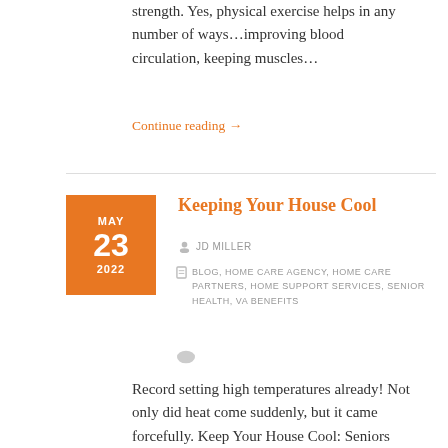strength. Yes, physical exercise helps in any number of ways…improving blood circulation, keeping muscles…
Continue reading →
Keeping Your House Cool
JD MILLER
BLOG, HOME CARE AGENCY, HOME CARE PARTNERS, HOME SUPPORT SERVICES, SENIOR HEALTH, VA BENEFITS
Record setting high temperatures already! Not only did heat come suddenly, but it came forcefully. Keep Your House Cool: Seniors